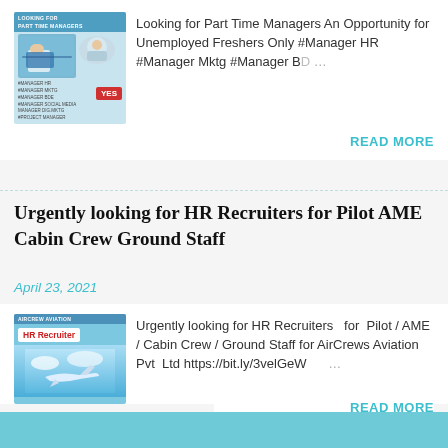[Figure (illustration): Thumbnail image for Part Time Managers job post with person at laptop and red badge]
Looking for Part Time Managers An Opportunity for Unemployed Freshers Only #Manager HR #Manager Mktg #Manager BD …
READ MORE
Urgently looking for HR Recruiters for Pilot AME Cabin Crew Ground Staff
April 23, 2021
[Figure (illustration): Thumbnail image for HR Recruiter post with airplane and blue sky]
Urgently looking for HR Recruiters  for  Pilot / AME / Cabin Crew / Ground Staff for AirCrews Aviation  Pvt  Ltd https://bit.ly/3velGeW  …
READ MORE